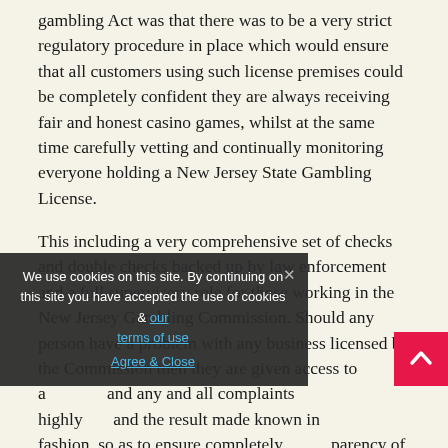One of the most important aspects of this new gambling Act was that there was to be a very strict regulatory procedure in place which would ensure that all customers using such license premises could be completely confident they are always receiving fair and honest casino games, whilst at the same time carefully vetting and continually monitoring everyone holding a New Jersey State Gambling License.
This including a very comprehensive set of checks and double checks backed up by law enforcement and a full supervisory role for those working in the New Jersey Gambling Commission. Should any person have a problem with any business licensed by the Commission then they are given access to a ... and any and all complaints ... highly and the result made known in ... fashion, so as to ensure completely ... transparency of the Commission and its workings.